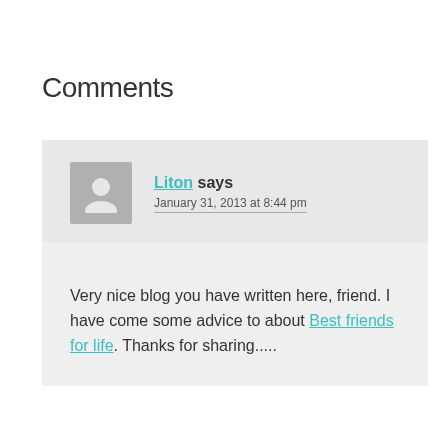Comments
Liton says
January 31, 2013 at 8:44 pm
Very nice blog you have written here, friend. I have come some advice to about Best friends for life. Thanks for sharing.....